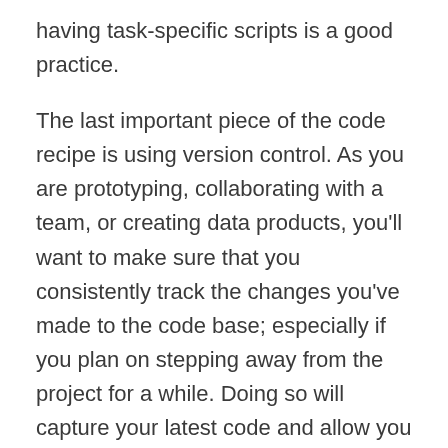having task-specific scripts is a good practice.
The last important piece of the code recipe is using version control. As you are prototyping, collaborating with a team, or creating data products, you'll want to make sure that you consistently track the changes you've made to the code base; especially if you plan on stepping away from the project for a while. Doing so will capture your latest code and allow you to come back to where you left off and see what else has changed in the other parts of the code base if other team members have been working. A bonus of using version control is that you can easily restore to previous versions of the code if needed. The most common way to track changes is through the use of git and Github.
The ability to hand off the right version of the code to